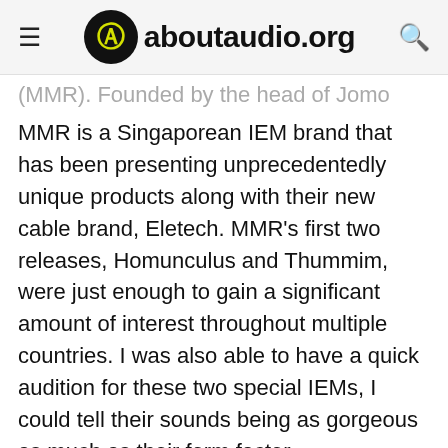aboutaudio.org
(MMR). Founded by the head of Jomo Audio, MMR is a Singaporean IEM brand that has been presenting unprecedentedly unique products along with their new cable brand, Eletech. MMR's first two releases, Homunculus and Thummim, were just enough to gain a significant amount of interest throughout multiple countries. I was also able to have a quick audition for these two special IEMs, I could tell their sounds being as gorgeous as much as their form factor.
One thing to note, however, is that MMR is a